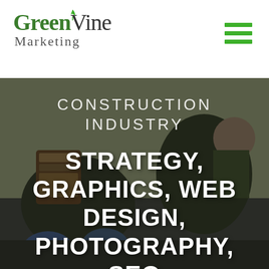[Figure (logo): Green Vine Marketing logo with green leaf accent above the 'V', text reads 'Green Vine Marketing']
[Figure (other): Hamburger menu icon made of three green horizontal bars in the top right corner]
[Figure (photo): Background photo of construction workers kneeling and working, wearing tool belts, on a rooftop or floor surface]
CONSTRUCTION INDUSTRY
STRATEGY, GRAPHICS, WEB DESIGN, PHOTOGRAPHY, SEO